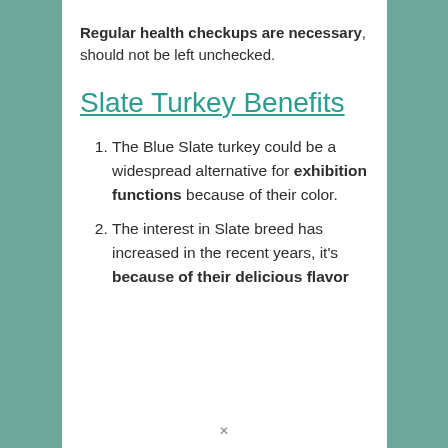Regular health checkups are necessary, should not be left unchecked.
Slate Turkey Benefits
The Blue Slate turkey could be a widespread alternative for exhibition functions because of their color.
The interest in Slate breed has increased in the recent years, it's because of their delicious flavor